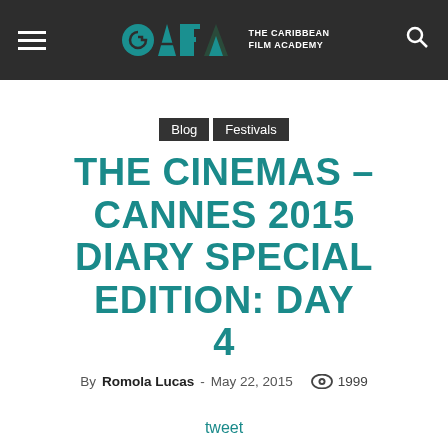CAFA – THE CARIBBEAN FILM ACADEMY
Blog  Festivals
THE CINEMAS – CANNES 2015 DIARY SPECIAL EDITION: DAY 4
By Romola Lucas - May 22, 2015  1999
tweet
From the Inside-Out
by Travolta Cooper